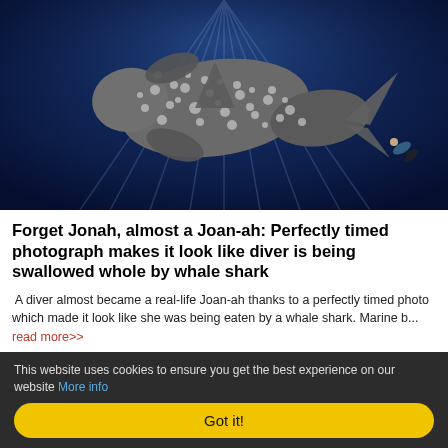[Figure (photo): Aerial/overhead underwater photograph of a whale shark (spotted, with large body and fins) against a deep blue ocean background, with a diver visible near the shark's tail.]
Forget Jonah, almost a Joan-ah: Perfectly timed photograph makes it look like diver is being swallowed whole by whale shark
A diver almost became a real-life Joan-ah thanks to a perfectly timed photo which made it look like she was being eaten by a whale shark. Marine b... read more>>
This website uses cookies to ensure you get the best experience on our website More info
Got it!